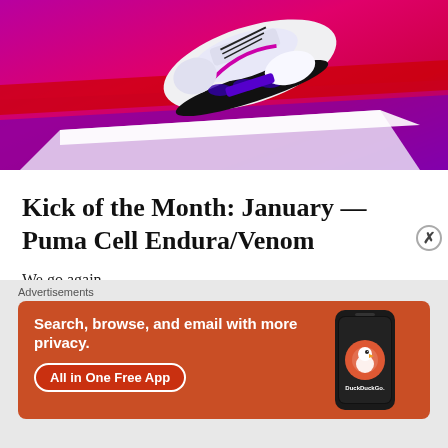[Figure (photo): A floating Puma Cell Endura/Venom sneaker (white with black and purple accents) photographed against a vivid pink, red, and purple gradient background with geometric shapes.]
Kick of the Month: January — Puma Cell Endura/Venom
We go again
Puma Moved at exactly the right time with this one, it was
[Figure (screenshot): DuckDuckGo advertisement banner with orange background reading 'Search, browse, and email with more privacy. All in One Free App' with a phone mockup showing the DuckDuckGo logo and app icon.]